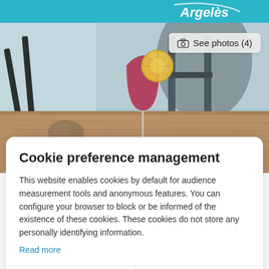[Figure (photo): Tourism website screenshot showing a cocktail/wine glass with red drink and lemon slice garnish on a wooden table, outdoor terrace setting with metal chairs in background. Teal blue header bar at top with a logo (Argelès-sur-Mer) on the right. A 'See photos (4)' button overlaid on the photo.]
Cookie preference management
This website enables cookies by default for audience measurement tools and anonymous features. You can configure your browser to block or be informed of the existence of these cookies. These cookies do not store any personally identifying information.
Read more
I choose
Ok for me